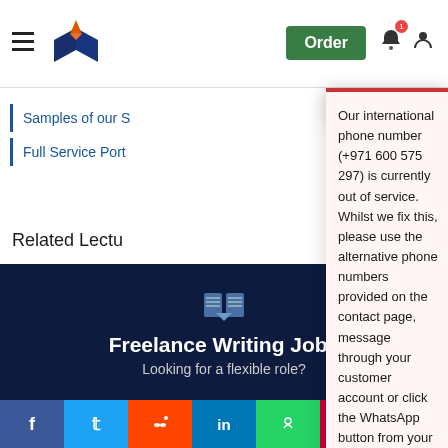Order
Samples of our S
Full Service Port
Related Lectu
Study for free wit
All Available Lect
Our international phone number (+971 600 575 297) is currently out of service. Whilst we fix this, please use the alternative phone numbers provided on the contact page, message through your customer account or click the WhatsApp button from your mobile (Monday – Friday 9am – 5pm, Saturday 10am – 6pm UK time).
August 20, 2022
Freelance Writing Jobs
Looking for a flexible role?